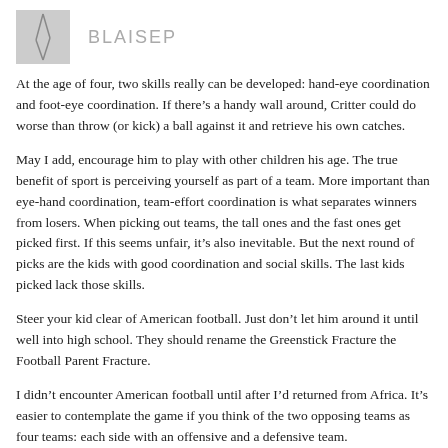BLAISEP
At the age of four, two skills really can be developed: hand-eye coordination and foot-eye coordination. If there’s a handy wall around, Critter could do worse than throw (or kick) a ball against it and retrieve his own catches.
May I add, encourage him to play with other children his age. The true benefit of sport is perceiving yourself as part of a team. More important than eye-hand coordination, team-effort coordination is what separates winners from losers. When picking out teams, the tall ones and the fast ones get picked first. If this seems unfair, it’s also inevitable. But the next round of picks are the kids with good coordination and social skills. The last kids picked lack those skills.
Steer your kid clear of American football. Just don’t let him around it until well into high school. They should rename the Greenstick Fracture the Football Parent Fracture.
I didn’t encounter American football until after I’d returned from Africa. It’s easier to contemplate the game if you think of the two opposing teams as four teams: each side with an offensive and a defensive team.